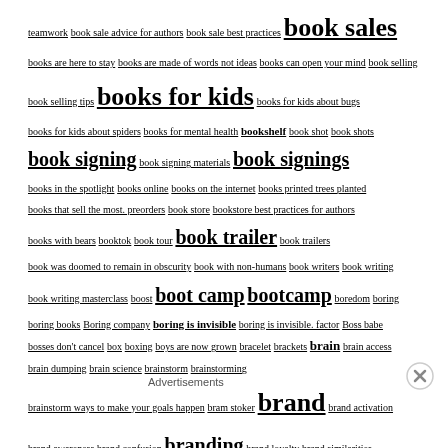teamwork book sale advice for authors book sale best practices book sales books are here to stay books are made of words not ideas books can open your mind book selling book selling tips books for kids books for kids about bugs books for kids about spiders books for mental health bookshelf book shot book shots book signing book signing materials book signings books in the spotlight books online books on the internet books printed trees planted books that sell the most. preorders book store bookstore best practices for authors books with bears booktok book tour book trailer book trailers book was doomed to remain in obscurity book with non-humans book writers book writing book writing masterclass boost boot camp bootcamp boredom boring boring books Boring company boring is invisible boring is invisible. factor Boss babe bosses don't cancel box boxing boys are now grown bracelet brackets brain brain access brain dumping brain science brainstorm brainstorming brainstorm ways to make your goals happen bram stoker brand brand activation brand awareness brand confusion branding brand loyalty brand similarities brand stories brand stories for authors brand story brave girls
Advertisements